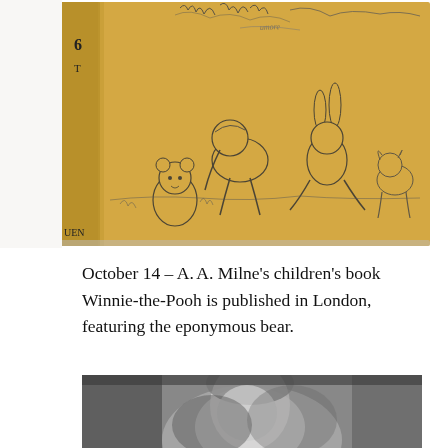[Figure (photo): Photograph of a vintage Winnie-the-Pooh book cover, showing the golden/yellow dust jacket with a line-drawing illustration of Christopher Robin, Winnie-the-Pooh, and other characters. The book spine is visible on the left with partial text.]
October 14 – A. A. Milne's children's book Winnie-the-Pooh is published in London, featuring the eponymous bear.
[Figure (photo): Black and white portrait photograph, partially visible, showing a person's face/head from above, soft focus.]